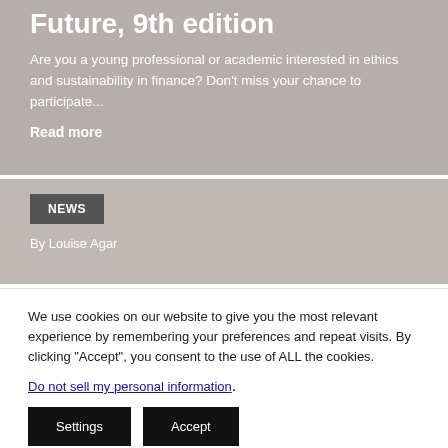Future, 9th edition
Are you a young professional or academic interested in ethics and sustainability in finance? Don’t miss your chance to participate...
Read more
NEWS
By Louise Agar
We use cookies on our website to give you the most relevant experience by remembering your preferences and repeat visits. By clicking “Accept”, you consent to the use of ALL the cookies.
Do not sell my personal information.
Settings
Accept